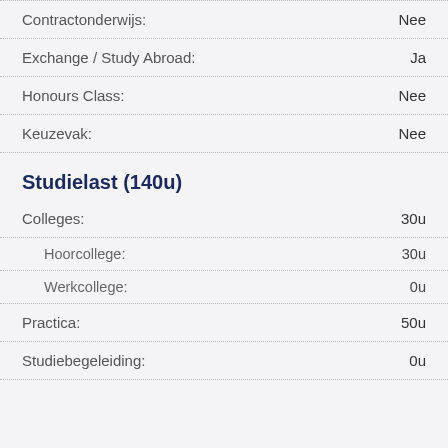Contractonderwijs: Nee
Exchange / Study Abroad: Ja
Honours Class: Nee
Keuzevak: Nee
Studielast (140u)
Colleges: 30u
Hoorcollege: 30u
Werkcollege: 0u
Practica: 50u
Studiebegeleiding: 0u